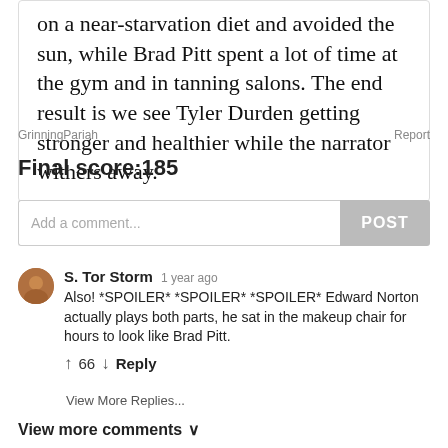on a near-starvation diet and avoided the sun, while Brad Pitt spent a lot of time at the gym and in tanning salons. The end result is we see Tyler Durden getting stronger and healthier while the narrator withers away.
GrinningPariah
Report
Final score:185
Add a comment...
POST
S. Tor Storm  1 year ago
Also! *SPOILER* *SPOILER* *SPOILER* Edward Norton actually plays both parts, he sat in the makeup chair for hours to look like Brad Pitt.
↑ 66 ↓ Reply
View More Replies...
View more comments ∨